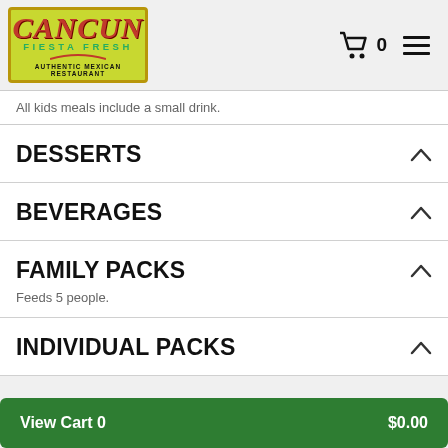[Figure (logo): Cancun Fiesta Fresh - Authentic Mexican Restaurant logo with green background and red chili pepper]
All kids meals include a small drink.
DESSERTS
BEVERAGES
FAMILY PACKS
Feeds 5 people.
INDIVIDUAL PACKS
View Cart 0   $0.00